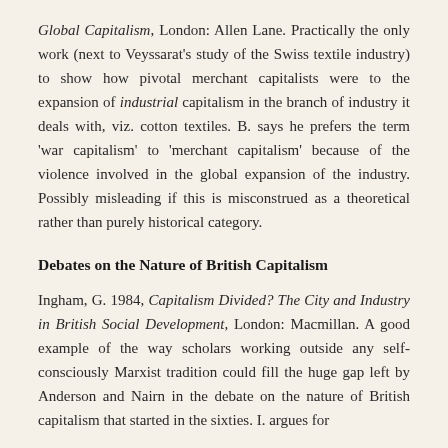Global Capitalism, London: Allen Lane. Practically the only work (next to Veyssarat's study of the Swiss textile industry) to show how pivotal merchant capitalists were to the expansion of industrial capitalism in the branch of industry it deals with, viz. cotton textiles. B. says he prefers the term 'war capitalism' to 'merchant capitalism' because of the violence involved in the global expansion of the industry. Possibly misleading if this is misconstrued as a theoretical rather than purely historical category.
Debates on the Nature of British Capitalism
Ingham, G. 1984, Capitalism Divided? The City and Industry in British Social Development, London: Macmillan. A good example of the way scholars working outside any self-consciously Marxist tradition could fill the huge gap left by Anderson and Nairn in the debate on the nature of British capitalism that started in the sixties. I. argues for